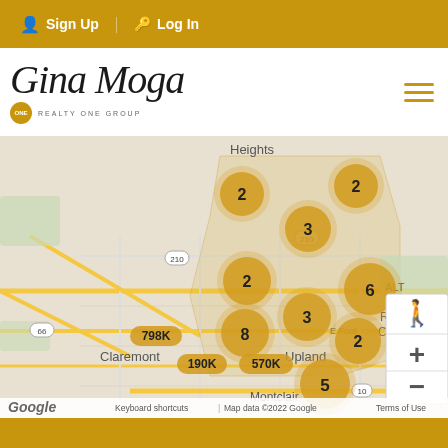Sign Up | Log In
[Figure (logo): Gina Moga Realty One Group logo]
[Figure (map): Google Map showing property listings clustered around Upland, Claremont, and Rancho Cucamonga area. Clusters show numbers 2, 3, 6, 8, 5, 2, 2, 2 and price markers 798K, 190K, 570K. Map includes highway 210 and route 66 markers.]